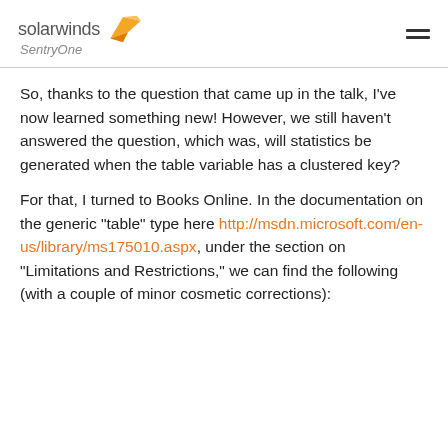solarwinds SentryOne
So, thanks to the question that came up in the talk, I've now learned something new! However, we still haven't answered the question, which was, will statistics be generated when the table variable has a clustered key?
For that, I turned to Books Online. In the documentation on the generic "table" type here http://msdn.microsoft.com/en-us/library/ms175010.aspx, under the section on "Limitations and Restrictions," we can find the following (with a couple of minor cosmetic corrections):